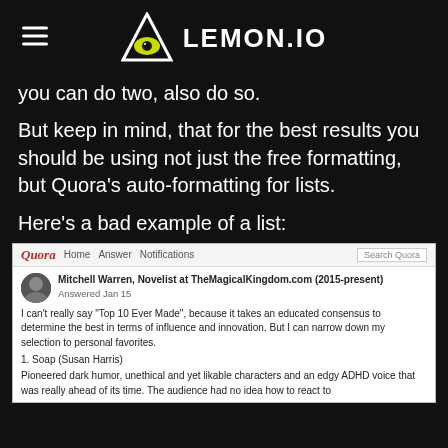LEMON.IO
you can do two, also do so.
But keep in mind, that for the best results you should be using not just the free formatting, but Quora’s auto-formatting for lists.
Here’s a bad example of a list:
[Figure (screenshot): Screenshot of a Quora answer by Mitchell Warren, Novelist at TheMagicalKingdom.com (2015-present), Answered Jan 15. The answer text reads: I can't really say "Top 10 Ever Made", because it takes an educated consensus to determine the best in terms of influence and innovation. But I can narrow down my selection to personal favorites. 1. Soap (Susan Harris) Pioneered dark humor, unethical and yet likable characters and an edgy ADHD voice that was really ahead of its time. The audience had no idea how to react to]